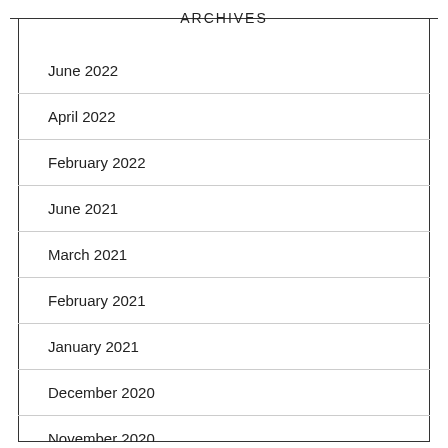ARCHIVES
June 2022
April 2022
February 2022
June 2021
March 2021
February 2021
January 2021
December 2020
November 2020